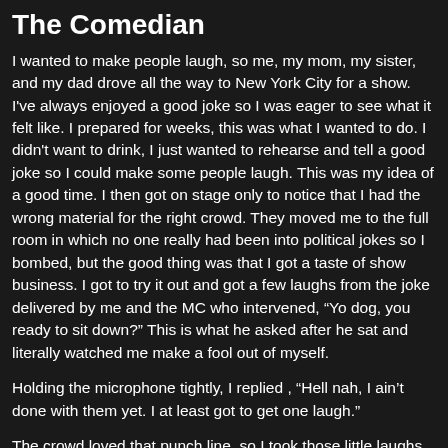The Comedian
I wanted to make people laugh, so me, my mom, my sister, and my dad drove all the way to New York City for a show. I've always enjoyed a good joke so I was eager to see what it felt like. I prepared for weeks, this was what I wanted to do. I didn't want to drink, I just wanted to rehearse and tell a good joke so I could make some people laugh. This was my idea of a good time. I then got on stage only to notice that I had the wrong material for the right crowd. They moved me to the full room in which no one really had been into political jokes so I bombed, but the good thing was that I got a taste of show business. I got to try it out and got a few laughs from the joke delivered by me and the MC who intervened, “Yo dog, you ready to sit down?” This is what he asked after he sat and literally watched me make a fool out of myself.
Holding the microphone tightly, I replied , “Hell nah, I ain’t done with them yet. I at least got to get one laugh.”
The crowd loved that punch line, so I took those little laughs and got the hell out of town. My vision of a huge crowd in some sold out stadium left me to see what the comedy club